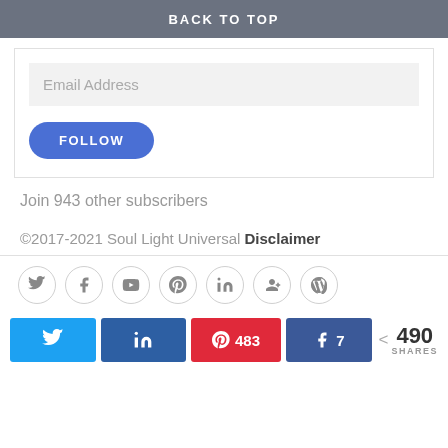BACK TO TOP
Email Address
FOLLOW
Join 943 other subscribers
©2017-2021 Soul Light Universal Disclaimer
[Figure (other): Social media icon links: Twitter, Facebook, YouTube, Pinterest, LinkedIn, Google+, WordPress]
[Figure (infographic): Share bar with Twitter, LinkedIn, Pinterest (483), Facebook (7) share buttons, and total 490 SHARES]